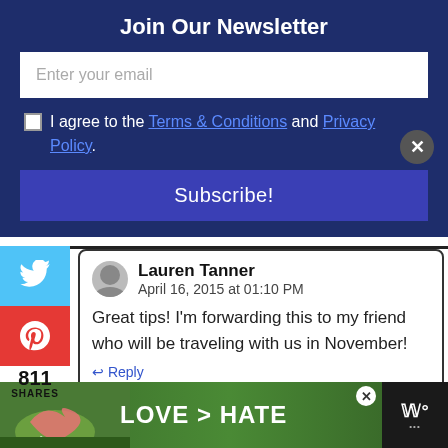Join Our Newsletter
Enter your email
I agree to the Terms & Conditions and Privacy Policy.
Subscribe!
Lauren Tanner
April 16, 2015 at 01:10 PM
Great tips! I'm forwarding this to my friend who will be traveling with us in November!
Reply
[Figure (screenshot): Ad banner at bottom showing heart hands on green background with text LOVE > HATE and close button]
811 SHARES